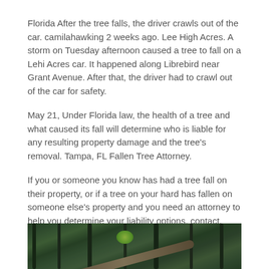Florida After the tree falls, the driver crawls out of the car. camilahawking 2 weeks ago. Lee High Acres. A storm on Tuesday afternoon caused a tree to fall on a Lehi Acres car. It happened along Librebird near Grant Avenue. After that, the driver had to crawl out of the car for safety.
May 21, Under Florida law, the health of a tree and what caused its fall will determine who is liable for any resulting property damage and the tree's removal. Tampa, FL Fallen Tree Attorney.
If you or someone you know has had a tree fall on their property, or if a tree on your hard has fallen on someone else's property and you need an attorney to help you determine your liability options, contact.
[Figure (photo): Dense forest scene with tall trees, lush green foliage, and a fallen log visible in the foreground.]